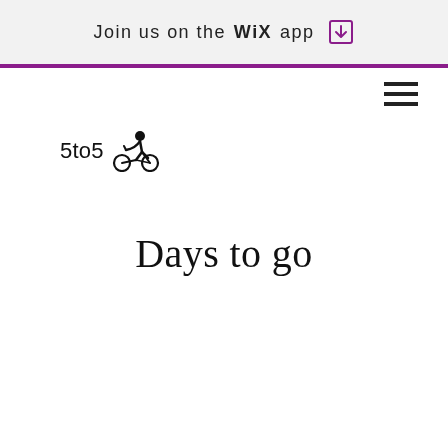Join us on the WiX app
[Figure (logo): 5to500 cycling logo with cyclist icon]
Days to go